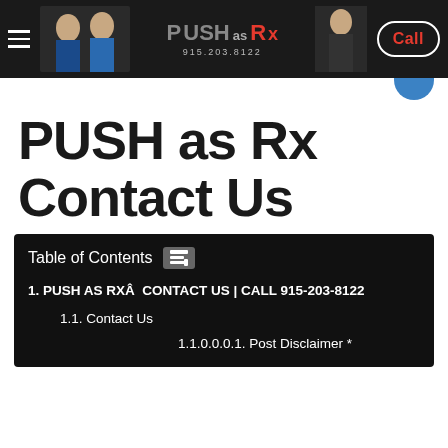PUSH as Rx | 915.203.8122 | Call
PUSH as Rx Contact Us
Table of Contents
1. PUSH AS RXÂ  CONTACT US | CALL 915-203-8122
1.1. Contact Us
1.1.0.0.0.1. Post Disclaimer *